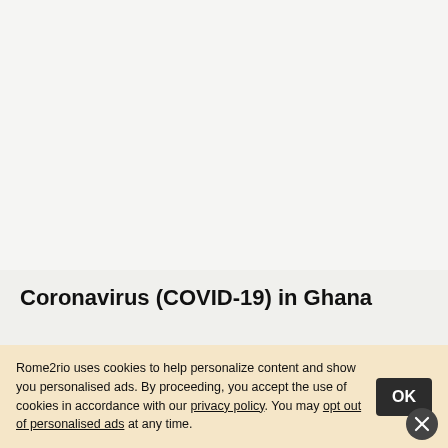[Figure (screenshot): Top blank grayish-white area representing a webpage background above main content]
Coronavirus (COVID-19) in Ghana
There is widespread community transmission globally.
Rome2rio uses cookies to help personalize content and show you personalised ads. By proceeding, you accept the use of cookies in accordance with our privacy policy. You may opt out of personalised ads at any time.